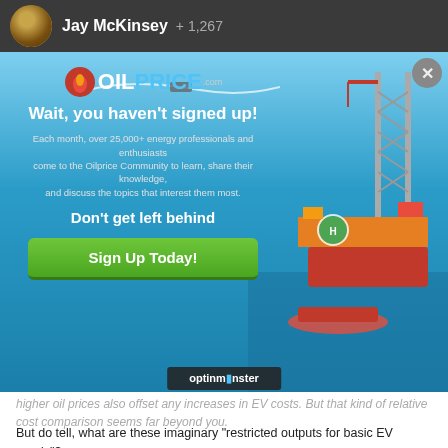Jay McKinsey  +1,267
[Figure (screenshot): OilPrice.com popup modal over an oil rig background image. Contains logo, headline 'Wait, you haven't signed up!', body text about 25,000+ energy professionals, subheadline 'Don't get left behind', and a green 'Sign Up Today!' button. Close button (X) in top right. OptinMonster branding bar at bottom.]
higher oil prices also offset any increases in EV costs. But that kind of relative cost comparison seems far beyond you.
But do tell, what are these imaginary "restricted outputs for basic EV needs"?